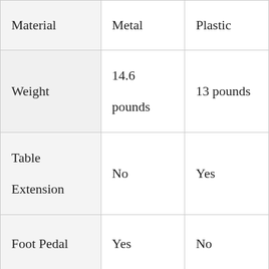|  | Metal | Plastic |
| --- | --- | --- |
| Material | Metal | Plastic |
| Weight | 14.6 pounds | 13 pounds |
| Table Extension | No | Yes |
| Foot Pedal | Yes | No |
| Light | Yes | Yes |
| (partial row) | (partial) | (partial) |